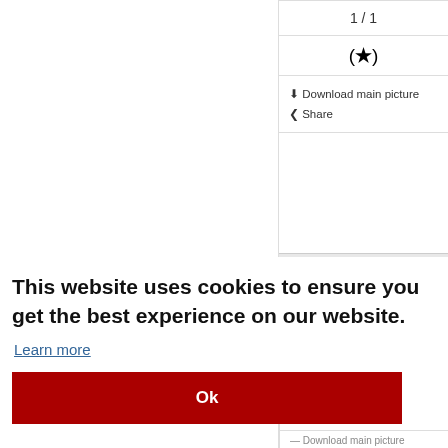1 / 1
(★)
⬇ Download main picture
❮ Share
Lot# : 6270
This website uses cookies to ensure you get the best experience on our website.
Learn more
Ok
— Download main picture
❮ Share